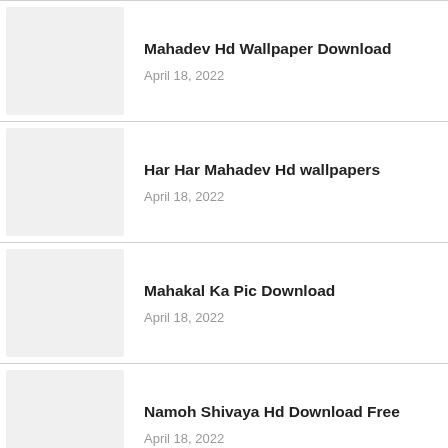Mahadev Hd Wallpaper Download
April 18, 2022
Har Har Mahadev Hd wallpapers
April 18, 2022
Mahakal Ka Pic Download
April 18, 2022
Namoh Shivaya Hd Download Free
April 18, 2022